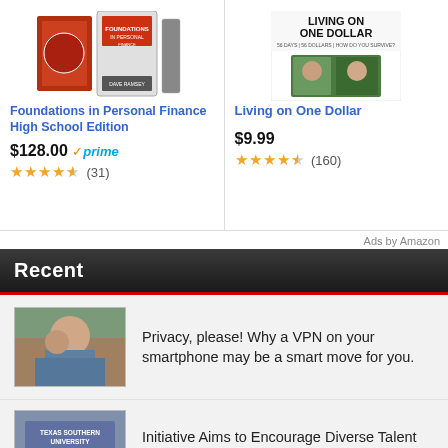[Figure (other): Product image for Foundations in Personal Finance High School Edition - book/DVD set with orange cover]
Foundations in Personal Finance High School Edition
$128.00 prime (31 reviews, 4.5 stars)
[Figure (other): Movie cover for Living on One Dollar - black and white title text with photo of two people outdoors]
Living on One Dollar
$9.99 (160 reviews, 4.5 stars)
Ads by Amazon
Recent
[Figure (photo): Woman talking on phone at a cafe with a laptop]
Privacy, please! Why a VPN on your smartphone may be a smart move for you.
[Figure (photo): Texas Southern University building exterior]
Initiative Aims to Encourage Diverse Talent into Cyber